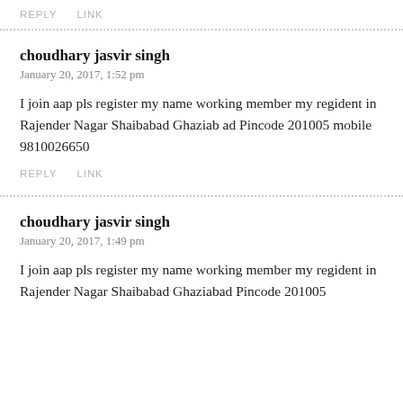REPLY   LINK
choudhary jasvir singh
January 20, 2017, 1:52 pm
I join aap pls register my name working member my regident in Rajender Nagar Shaibabad Ghaziab ad Pincode 201005 mobile 9810026650
REPLY   LINK
choudhary jasvir singh
January 20, 2017, 1:49 pm
I join aap pls register my name working member my regident in Rajender Nagar Shaibabad Ghaziabad Pincode 201005